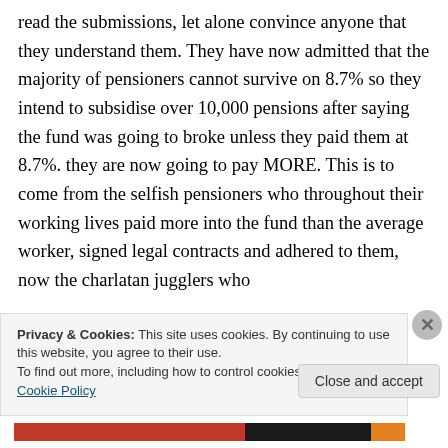read the submissions, let alone convince anyone that they understand them. They have now admitted that the majority of pensioners cannot survive on 8.7% so they intend to subsidise over 10,000 pensions after saying the fund was going to broke unless they paid them at 8.7%. they are now going to pay MORE. This is to come from the selfish pensioners who throughout their working lives paid more into the fund than the average worker, signed legal contracts and adhered to them, now the charlatan jugglers who
Privacy & Cookies: This site uses cookies. By continuing to use this website, you agree to their use.
To find out more, including how to control cookies, see here: Cookie Policy